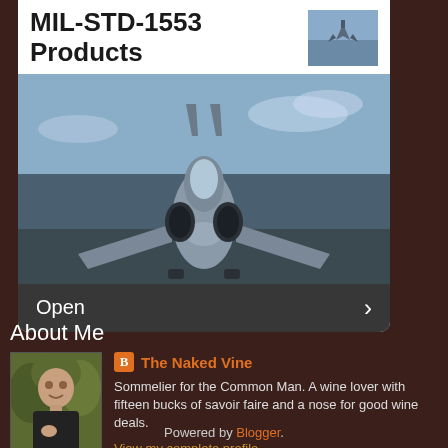[Figure (screenshot): Advertisement banner card for MIL-STD-1553 Products showing a fighter jet (F-14/F-15 style) on a runway, with white header containing title text and small aircraft thumbnail, and dark footer with 'Open' text and right arrow]
About Me
[Figure (photo): Profile photo of a bald man in a black shirt against a camouflage/foliage background]
The Naked Vine
Sommelier for the Common Man. A wine lover with fifteen bucks of savoir faire and a nose for good wine deals.
View my complete profile
Powered by Blogger.